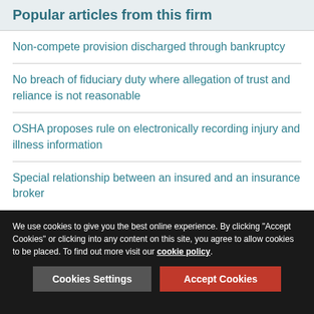Popular articles from this firm
Non-compete provision discharged through bankruptcy
No breach of fiduciary duty where allegation of trust and reliance is not reasonable
OSHA proposes rule on electronically recording injury and illness information
Special relationship between an insured and an insurance broker
Intellectual property invoice scams
If you would like to learn how Lexology can drive your content marketing strategy forward, please email enquiries@lexology.com.
We use cookies to give you the best online experience. By clicking "Accept Cookies" or clicking into any content on this site, you agree to allow cookies to be placed. To find out more visit our cookie policy.